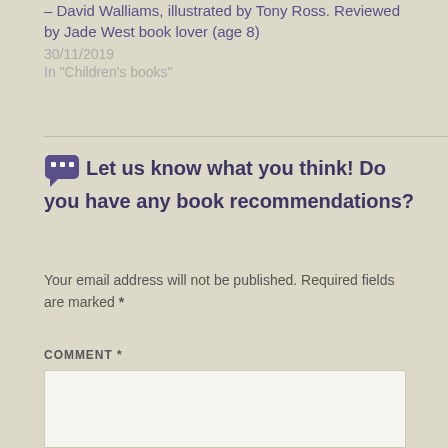– David Walliams, illustrated by Tony Ross. Reviewed by Jade West book lover (age 8)
30/11/2019
In "Children's books"
💬 Let us know what you think! Do you have any book recommendations?
Your email address will not be published. Required fields are marked *
COMMENT *